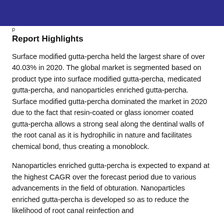p
Report Highlights
Surface modified gutta-percha held the largest share of over 40.03% in 2020. The global market is segmented based on product type into surface modified gutta-percha, medicated gutta-percha, and nanoparticles enriched gutta-percha. Surface modified gutta-percha dominated the market in 2020 due to the fact that resin-coated or glass ionomer coated gutta-percha allows a strong seal along the dentinal walls of the root canal as it is hydrophilic in nature and facilitates chemical bond, thus creating a monoblock.
Nanoparticles enriched gutta-percha is expected to expand at the highest CAGR over the forecast period due to various advancements in the field of obturation. Nanoparticles enriched gutta-percha is developed so as to reduce the likelihood of root canal reinfection and